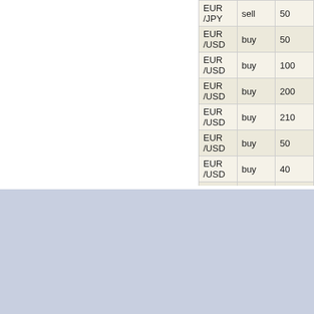| Currency | Direction | Amount |  |
| --- | --- | --- | --- |
| EUR /JPY | sell | 50 |  |
| EUR /USD | buy | 50 |  |
| EUR /USD | buy | 100 |  |
| EUR /USD | buy | 200 |  |
| EUR /USD | buy | 210 |  |
| EUR /USD | buy | 50 |  |
| EUR /USD | buy | 40 |  |
| EUR /USD | sell | 100 |  |
|  |  |  |  |
Forex | Download Forex Software | About Forex broker | Forex trading | Analytics
© 1998-2022 Forex HSN ltd.
All rights reserved